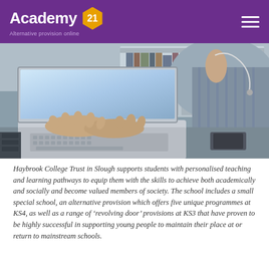Academy 21 – Alternative provision online
[Figure (photo): Close-up photo of a student's hands typing on a laptop keyboard in a classroom or office setting, with shelving and books visible in the background.]
Haybrook College Trust in Slough supports students with personalised teaching and learning pathways to equip them with the skills to achieve both academically and socially and become valued members of society. The school includes a small special school, an alternative provision which offers five unique programmes at KS4, as well as a range of 'revolving door' provisions at KS3 that have proven to be highly successful in supporting young people to maintain their place at or return to mainstream schools.